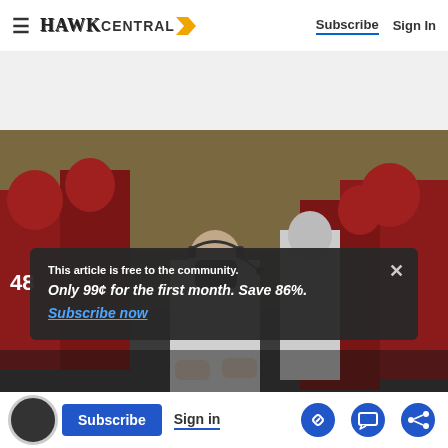HAWK CENTRAL | Subscribe | Sign In
[Figure (photo): Football coach wearing a black face mask and headset, surrounded by players in red Alabama football uniforms on the sideline]
This article is free to the community.
Only 99¢ for the first month. Save 86%.
Subscribe now
Subscribe | Sign in | link icon | comment icon | share icon